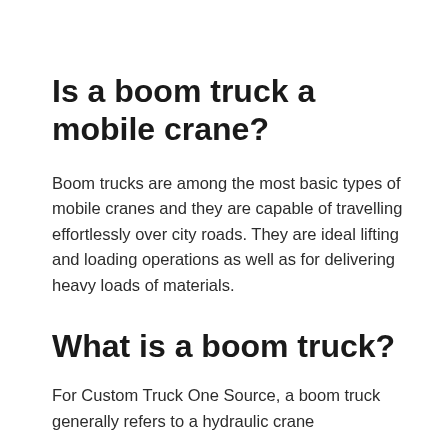Is a boom truck a mobile crane?
Boom trucks are among the most basic types of mobile cranes and they are capable of travelling effortlessly over city roads. They are ideal lifting and loading operations as well as for delivering heavy loads of materials.
What is a boom truck?
For Custom Truck One Source, a boom truck generally refers to a hydraulic crane